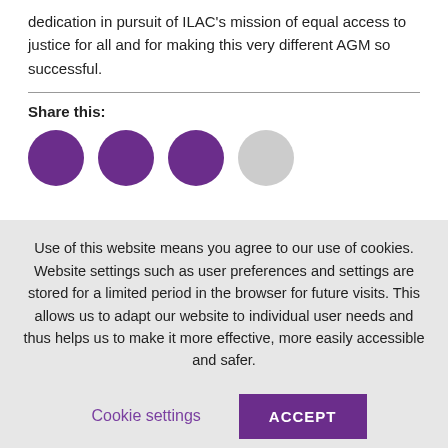dedication in pursuit of ILAC's mission of equal access to justice for all and for making this very different AGM so successful.
Share this:
[Figure (illustration): Four circular social share buttons: three purple and one gray, partially visible at bottom of page section]
Use of this website means you agree to our use of cookies. Website settings such as user preferences and settings are stored for a limited period in the browser for future visits. This allows us to adapt our website to individual user needs and thus helps us to make it more effective, more easily accessible and safer.
Cookie settings
ACCEPT